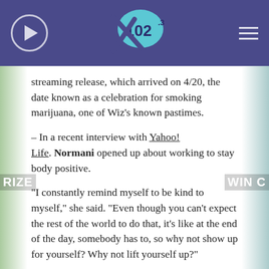X 102.3
streaming release, which arrived on 4/20, the date known as a celebration for smoking marijuana, one of Wiz's known pastimes.
– In a recent interview with Yahoo! Life, Normani opened up about working to stay body positive.
“I constantly remind myself to be kind to myself,” she said. “Even though you can’t expect the rest of the world to do that, it’s like at the end of the day, somebody has to, so why not show up for yourself? Why not lift yourself up?”
The “Wild Side” singer thanked Beyoncé and Janet Jackson for being the role models the young star